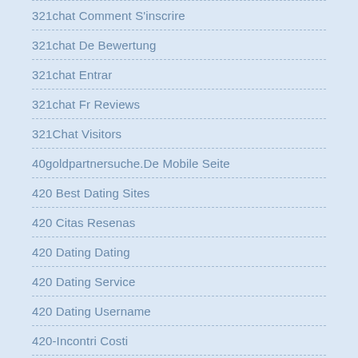321chat Comment S'inscrire
321chat De Bewertung
321chat Entrar
321chat Fr Reviews
321Chat Visitors
40goldpartnersuche.De Mobile Seite
420 Best Dating Sites
420 Citas Resenas
420 Dating Dating
420 Dating Service
420 Dating Username
420-Incontri Costi
420-Seznamka P?Ehled
45 Payday Loan